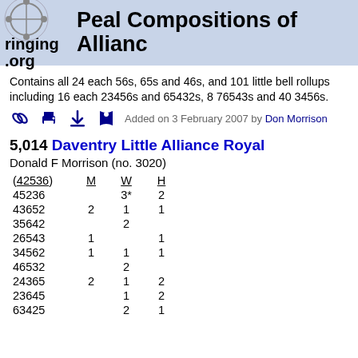ringing.org — Peal Compositions of Alliance
Contains all 24 each 56s, 65s and 46s, and 101 little bell rollups including 16 each 23456s and 65432s, 8 76543s and 40 3456s.
Added on 3 February 2007 by Don Morrison
5,014 Daventry Little Alliance Royal
Donald F Morrison (no. 3020)
| (42536) | M | W | H |
| --- | --- | --- | --- |
| 45236 |  | 3* | 2 |
| 43652 | 2 | 1 | 1 |
| 35642 |  | 2 |  |
| 26543 | 1 |  | 1 |
| 34562 | 1 | 1 | 1 |
| 46532 |  | 2 |  |
| 24365 | 2 | 1 | 2 |
| 23645 |  | 1 | 2 |
| 63425 |  | 2 | 1 |